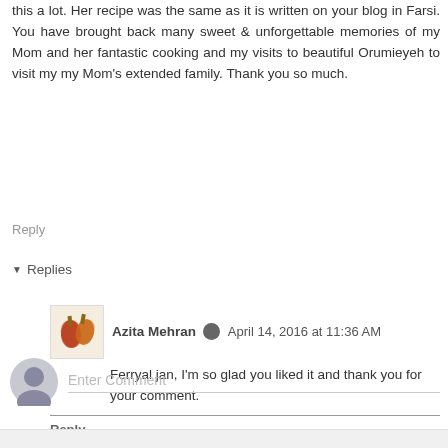this a lot. Her recipe was the same as it is written on your blog in Farsi. You have brought back many sweet & unforgettable memories of my Mom and her fantastic cooking and my visits to beautiful Orumieyeh to visit my my Mom's extended family. Thank you so much.
Reply
▾ Replies
Azita Mehran  April 14, 2016 at 11:36 AM
Ferryal jan, I'm so glad you liked it and thank you for your comment.
Reply
Enter Comment